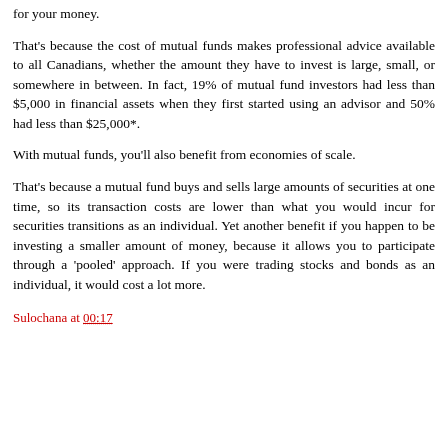for your money.
That's because the cost of mutual funds makes professional advice available to all Canadians, whether the amount they have to invest is large, small, or somewhere in between. In fact, 19% of mutual fund investors had less than $5,000 in financial assets when they first started using an advisor and 50% had less than $25,000*.
With mutual funds, you'll also benefit from economies of scale.
That's because a mutual fund buys and sells large amounts of securities at one time, so its transaction costs are lower than what you would incur for securities transitions as an individual. Yet another benefit if you happen to be investing a smaller amount of money, because it allows you to participate through a 'pooled' approach. If you were trading stocks and bonds as an individual, it would cost a lot more.
Sulochana at 00:17